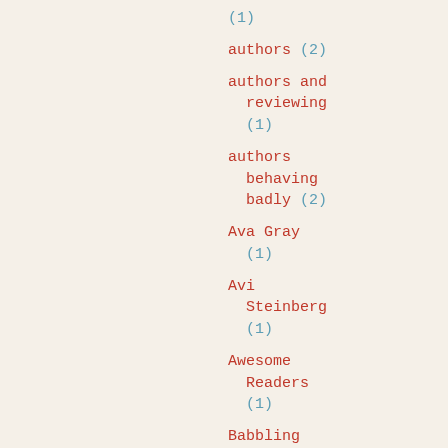(1)
authors (2)
authors and reviewing (1)
authors behaving badly (2)
Ava Gray (1)
Avi Steinberg (1)
Awesome Readers (1)
Babbling About